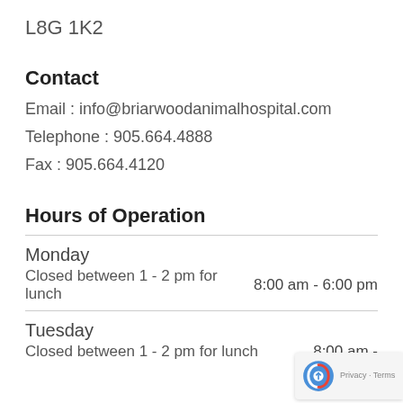L8G 1K2
Contact
Email : info@briarwoodanimalhospital.com
Telephone : 905.664.4888
Fax : 905.664.4120
Hours of Operation
Monday
Closed between 1 - 2 pm for lunch    8:00 am - 6:00 pm
Tuesday
Closed between 1 - 2 pm for lunch    8:00 am -